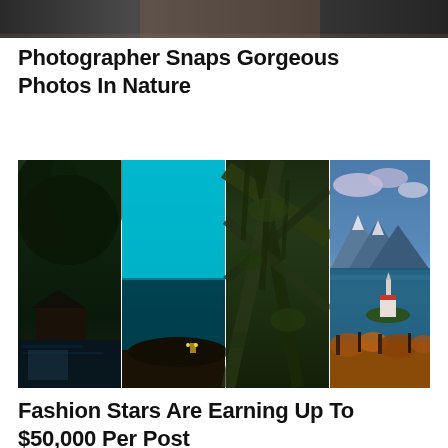[Figure (photo): Partial photo visible at top of page — appears to show a person, cropped to just the top strip]
Photographer Snaps Gorgeous Photos In Nature
[Figure (photo): Grid of four nature photographs side by side: (1) dark forested scene with a cabin near water, (2) teal-blue ocean horizon with a figure on rocks at bottom, (3) mossy forest with hanging branches close-up, (4) Lake Bled Slovenia with church on island, mountains and autumn foliage]
Fashion Stars Are Earning Up To $50,000 Per Post